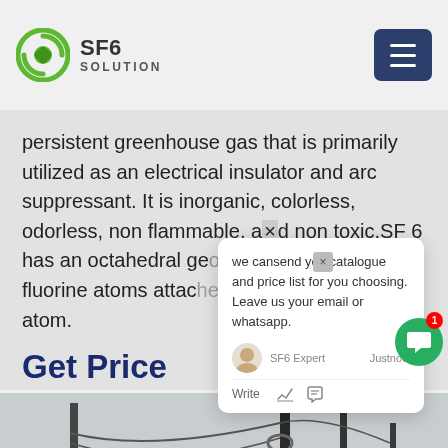SF6 SOLUTION
persistent greenhouse gas that is primarily utilized as an electrical insulator and arc suppressant. It is inorganic, colorless, odorless, non flammable, and non toxic.SF 6 has an octahedral geometry, consisting of six fluorine atoms attached to a central sulfur atom.
Get Price
we cansend you catalogue and price list for you choosing.
Leave us your email or whatsapp.
[Figure (photo): Outdoor electrical substation or power infrastructure with tall poles, cables, and electrical equipment against a light sky. Industrial setting with buildings visible at bottom.]